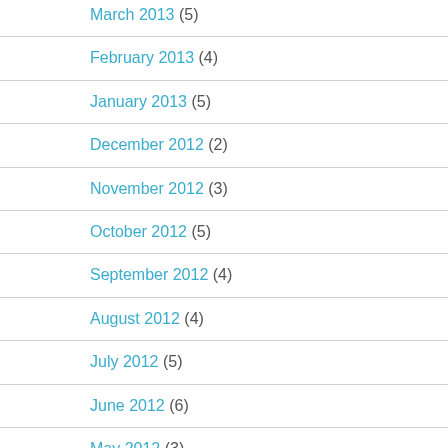March 2013 (5)
February 2013 (4)
January 2013 (5)
December 2012 (2)
November 2012 (3)
October 2012 (5)
September 2012 (4)
August 2012 (4)
July 2012 (5)
June 2012 (6)
May 2012 (3)